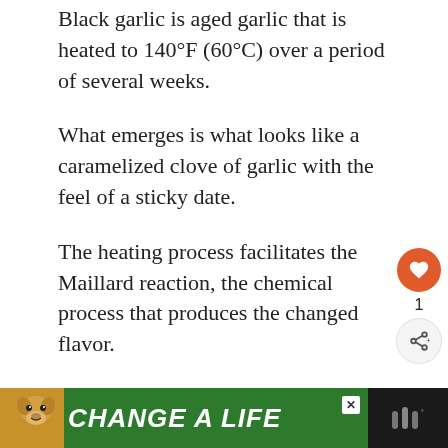Black garlic is aged garlic that is heated to 140°F (60°C) over a period of several weeks.
What emerges is what looks like a caramelized clove of garlic with the feel of a sticky date.
The heating process facilitates the Maillard reaction, the chemical process that produces the changed flavor.
These are the same compounds responsible for the deep taste of seared meat and fried onions.
[Figure (other): Advertisement banner showing a dog and text 'CHANGE A LIFE' on a green background]